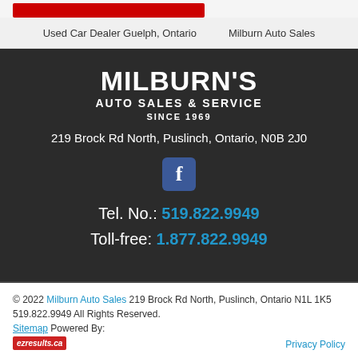Used Car Dealer Guelph, Ontario  |  Milburn Auto Sales
MILBURN'S AUTO SALES & SERVICE SINCE 1969
219 Brock Rd North, Puslinch, Ontario, N0B 2J0
[Figure (logo): Facebook icon - blue square with white f]
Tel. No.: 519.822.9949
Toll-free: 1.877.822.9949
© 2022 Milburn Auto Sales 219 Brock Rd North, Puslinch, Ontario N1L 1K5 519.822.9949 All Rights Reserved. Sitemap Powered By: ezresults.ca | Privacy Policy